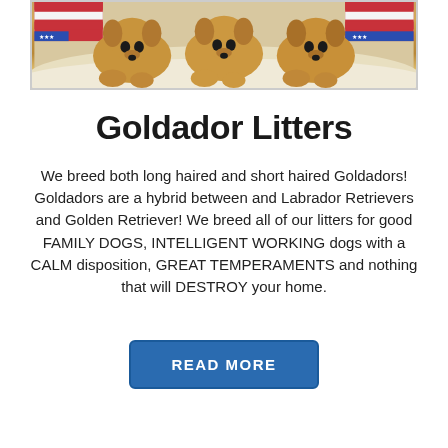[Figure (photo): Photo of multiple golden-colored puppies (Goldadors) lying together on a white fluffy surface, with patriotic red, white and blue fabric visible in the background corners.]
Goldador Litters
We breed both long haired and short haired Goldadors! Goldadors are a hybrid between and Labrador Retrievers and Golden Retriever! We breed all of our litters for good FAMILY DOGS, INTELLIGENT WORKING dogs with a CALM disposition, GREAT TEMPERAMENTS and nothing that will DESTROY your home.
READ MORE